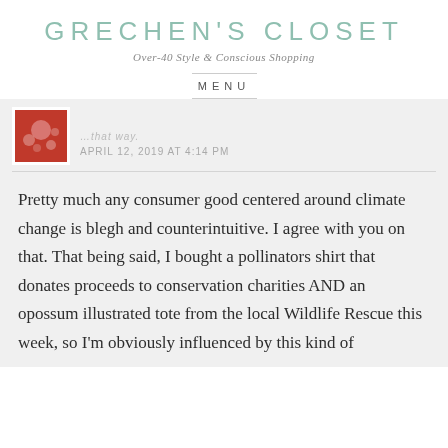GRECHEN'S CLOSET
Over-40 Style & Conscious Shopping
MENU
APRIL 12, 2019 AT 4:14 PM
Pretty much any consumer good centered around climate change is blegh and counterintuitive. I agree with you on that. That being said, I bought a pollinators shirt that donates proceeds to conservation charities AND an opossum illustrated tote from the local Wildlife Rescue this week, so I'm obviously influenced by this kind of